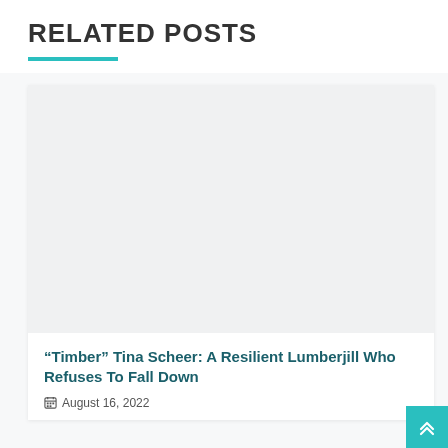RELATED POSTS
[Figure (photo): Blank/placeholder image area for the related post card]
“Timber” Tina Scheer: A Resilient Lumberjill Who Refuses To Fall Down
August 16, 2022